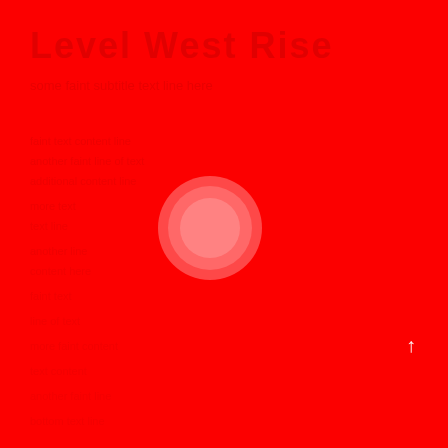[Figure (illustration): Solid red background with a light pink/semi-transparent circle centered slightly left of center horizontally and slightly above center vertically. A small white upward-pointing arrow is visible in the lower-right area. Faint darker red text is barely visible in the upper-left area reading something like 'Level West Rise' and additional faint text lines are scattered across the image.]